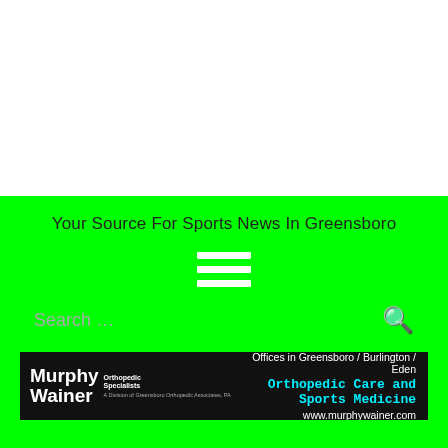Your Source For Sports News In Greensboro
[Figure (other): Hamburger menu icon (three white horizontal lines)]
Search …
[Figure (other): Murphy Wainer Orthopedic Specialists advertisement banner. Text: Offices in Greensboro / Burlington / Eden, Orthopedic Care and Sports Medicine, www.murphywainer.com]
Back from the Brink on Bellemeade:Ogi